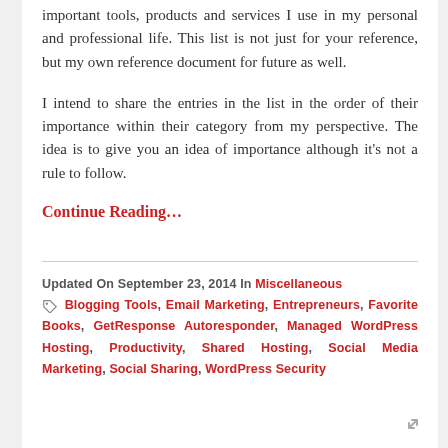important tools, products and services I use in my personal and professional life. This list is not just for your reference, but my own reference document for future as well.
I intend to share the entries in the list in the order of their importance within their category from my perspective. The idea is to give you an idea of importance although it's not a rule to follow.
Continue Reading…
Updated On September 23, 2014 In Miscellaneous  Blogging Tools, Email Marketing, Entrepreneurs, Favorite Books, GetResponse Autoresponder, Managed WordPress Hosting, Productivity, Shared Hosting, Social Media Marketing, Social Sharing, WordPress Security